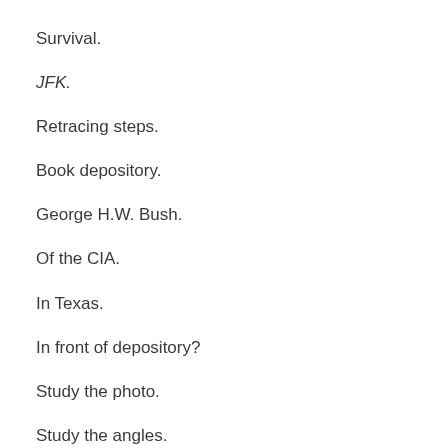Survival.
JFK.
Retracing steps.
Book depository.
George H.W. Bush.
Of the CIA.
In Texas.
In front of depository?
Study the photo.
Study the angles.